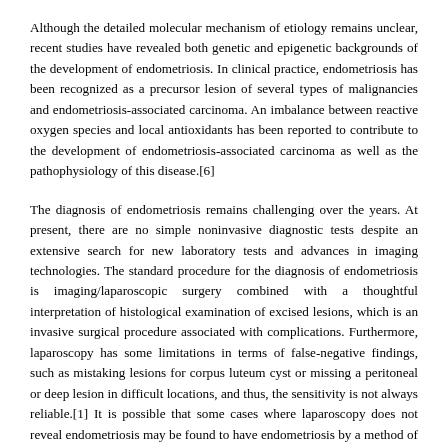Although the detailed molecular mechanism of etiology remains unclear, recent studies have revealed both genetic and epigenetic backgrounds of the development of endometriosis. In clinical practice, endometriosis has been recognized as a precursor lesion of several types of malignancies and endometriosis-associated carcinoma. An imbalance between reactive oxygen species and local antioxidants has been reported to contribute to the development of endometriosis-associated carcinoma as well as the pathophysiology of this disease.[6]
The diagnosis of endometriosis remains challenging over the years. At present, there are no simple noninvasive diagnostic tests despite an extensive search for new laboratory tests and advances in imaging technologies. The standard procedure for the diagnosis of endometriosis is imaging/laparoscopic surgery combined with a thoughtful interpretation of histological examination of excised lesions, which is an invasive surgical procedure associated with complications. Furthermore, laparoscopy has some limitations in terms of false-negative findings, such as mistaking lesions for corpus luteum cyst or missing a peritoneal or deep lesion in difficult locations, and thus, the sensitivity is not always reliable.[1] It is possible that some cases where laparoscopy does not reveal endometriosis may be found to have endometriosis by a method of nerve fiber detection. Few spots of adhesion in deep areas may not be convincing for endometriosis in laparoscopy.[1] Moreover, laparoscopy and hysterectomy are surgical procedures that can be associated with risks with delay in treatment. Studies have indicated that small demyelinated nerve fibers in the endometrium are found in higher density in comparison with women without endometriosis.